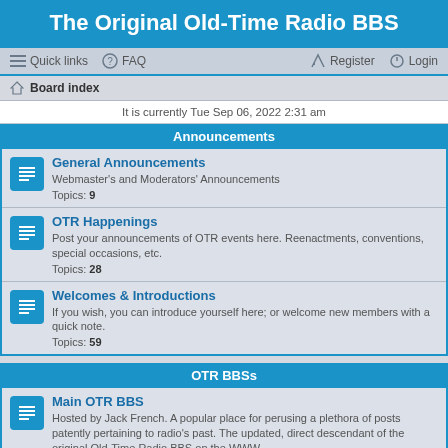The Original Old-Time Radio BBS
Quick links  FAQ  Register  Login
Board index
It is currently Tue Sep 06, 2022 2:31 am
Announcements
General Announcements
Webmaster's and Moderators' Announcements
Topics: 9
OTR Happenings
Post your announcements of OTR events here. Reenactments, conventions, special occasions, etc.
Topics: 28
Welcomes & Introductions
If you wish, you can introduce yourself here; or welcome new members with a quick note.
Topics: 59
OTR BBSs
Main OTR BBS
Hosted by Jack French. A popular place for perusing a plethora of posts patently pertaining to radio's past. The updated, direct descendant of the original Old-Time Radio BBS on the WWW.
Moderator: Jack French
Topics: 165
Big Band & OTR Music BBS